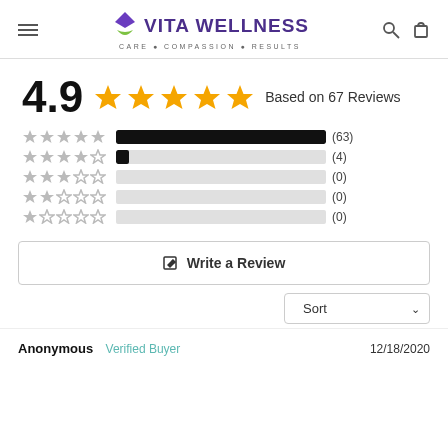Vita Wellness — CARE • COMPASSION • RESULTS
4.9 ★★★★★ Based on 67 Reviews
[Figure (bar-chart): Rating distribution]
Write a Review
Sort
Anonymous  Verified Buyer  12/18/2020